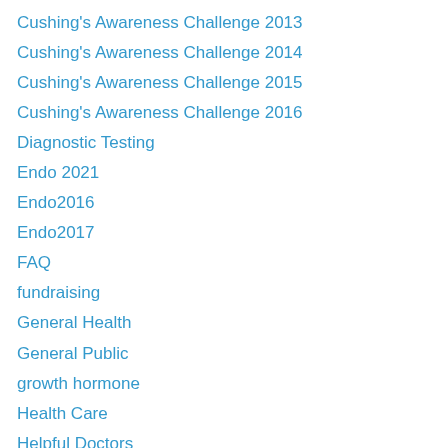Cushing's Awareness Challenge 2013
Cushing's Awareness Challenge 2014
Cushing's Awareness Challenge 2015
Cushing's Awareness Challenge 2016
Diagnostic Testing
Endo 2021
Endo2016
Endo2017
FAQ
fundraising
General Health
General Public
growth hormone
Health Care
Helpful Doctors
Humor
Inspiration
Interview
Lifestyle Tips
Meetings and Conferences